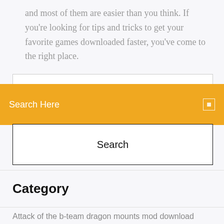and most of them are easier than you think. If you're looking for tips and tricks to get your favorite games downloaded faster, you've come to the right place.
[Figure (screenshot): Orange search bar with text 'Search Here' on left and small icon on right, overlaid on a white search input field above and a Search button box below.]
Category
Attack of the b-team dragon mounts mod download